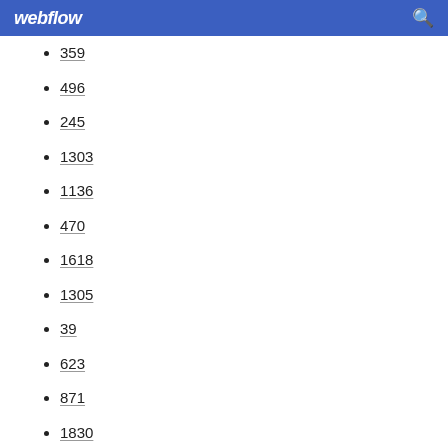webflow
359
496
245
1303
1136
470
1618
1305
39
623
871
1830
1193